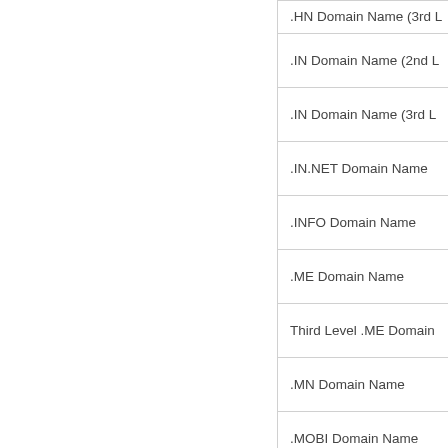| .HN Domain Name (3rd L |
| .IN Domain Name (2nd L |
| .IN Domain Name (3rd L |
| .IN.NET Domain Name |
| .INFO Domain Name |
| .ME Domain Name |
| Third Level .ME Domain |
| .MN Domain Name |
| .MOBI Domain Name |
| .NAME Domain Name |
| .NET Domain Name |
| .NL Domain Name |
| .NYC Domain Name |